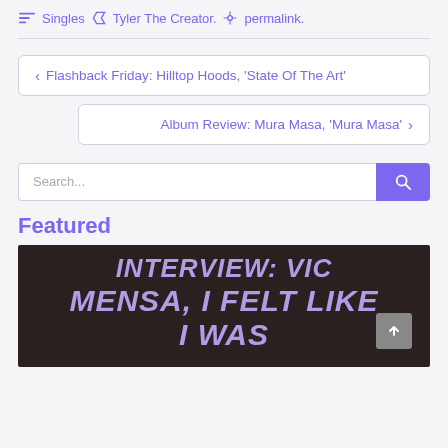Singles  Tyler The Creator.  permalink.
< Flashback Friday: Hilltop Hoods, 'State Of The Art'
Album Review: Mura Masa, 'Mura Masa' >
Search...
Featured
[Figure (photo): Dark background image with large bold italic purple text reading: INTERVIEW: VIC MENSA, I FELT LIKE I WAS]